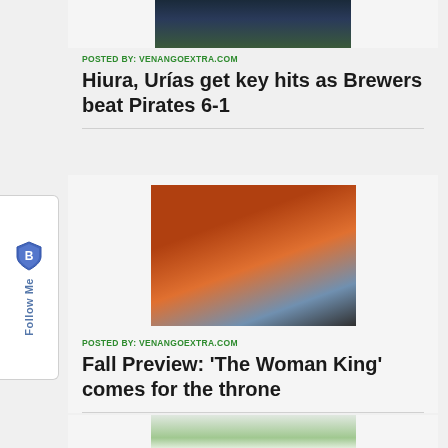[Figure (photo): Partial photo of a baseball player in white uniform on a green field, cropped at top]
POSTED BY: VENANGOEXTRA.COM
Hiura, Urías get key hits as Brewers beat Pirates 6-1
[Figure (photo): Movie still from 'The Woman King' showing a warrior woman in battle armor with fire and a crowd in the background]
POSTED BY: VENANGOEXTRA.COM
Fall Preview: 'The Woman King' comes for the throne
[Figure (photo): Partial photo cropped at bottom of page, appears to show white and green objects]